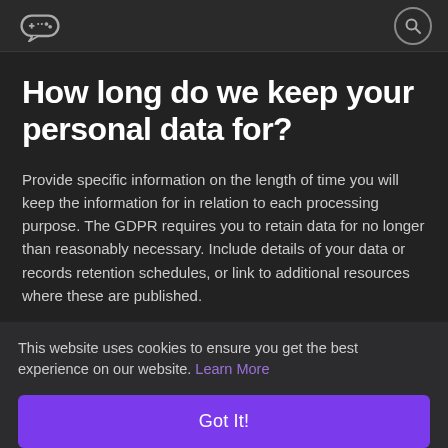[Figure (logo): Game controller logo icon in top left navigation bar]
How long do we keep your personal data for?
Provide specific information on the length of time you will keep the information for in relation to each processing purpose. The GDPR requires you to retain data for no longer than reasonably necessary. Include details of your data or records retention schedules, or link to additional resources where these are published.
This website uses cookies to ensure you get the best experience on our website. Learn More
Got It!